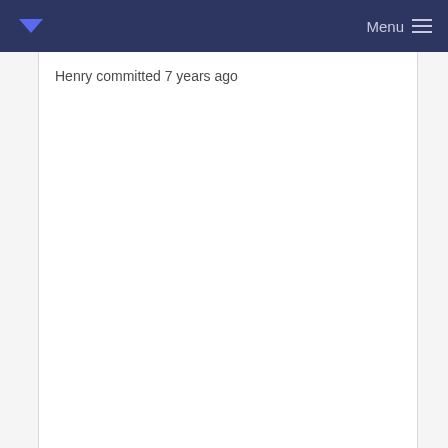Menu
Henry committed 7 years ago